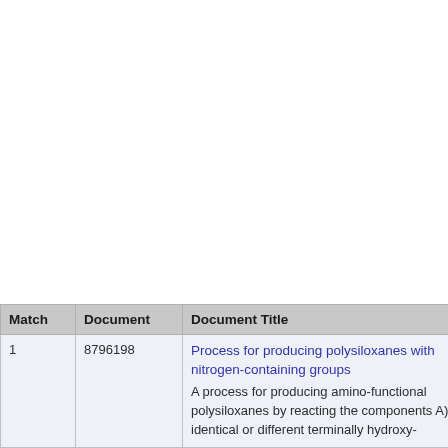| Match | Document | Document Title |
| --- | --- | --- |
| 1 | 8796198 | Process for producing polysiloxanes with nitrogen-containing groups
A process for producing amino-functional polysiloxanes by reacting the components A) identical or different terminally hydroxy- |